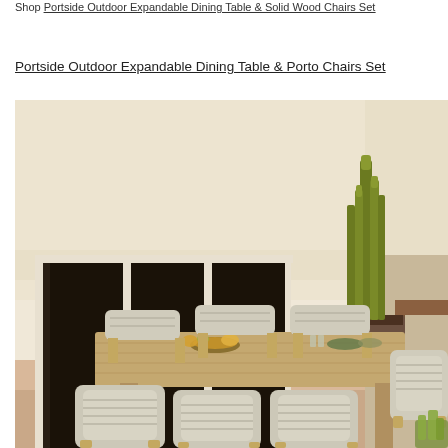Shop Portside Outdoor Expandable Dining Table & Solid Wood Chairs Set
Portside Outdoor Expandable Dining Table & Porto Chairs Set
[Figure (photo): Outdoor dining set on a patio featuring a large rectangular teak expandable dining table surrounded by upholstered Porto chairs with woven rope sides and teak wood legs. Background shows white stucco walls, tall glass French doors, and a large potted cactus plant.]